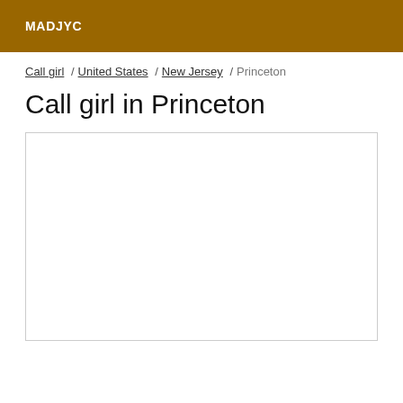MADJYC
Call girl / United States / New Jersey / Princeton
Call girl in Princeton
[Figure (other): Empty white content box with border]